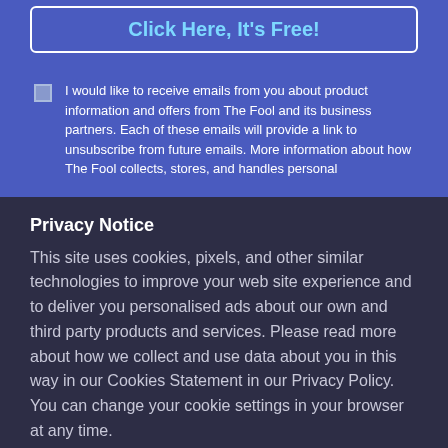Click Here, It's Free!
I would like to receive emails from you about product information and offers from The Fool and its business partners. Each of these emails will provide a link to unsubscribe from future emails. More information about how The Fool collects, stores, and handles personal
Privacy Notice
This site uses cookies, pixels, and other similar technologies to improve your web site experience and to deliver you personalised ads about our own and third party products and services. Please read more about how we collect and use data about you in this way in our Cookies Statement in our Privacy Policy. You can change your cookie settings in your browser at any time.
Accept
Cookie Preferences